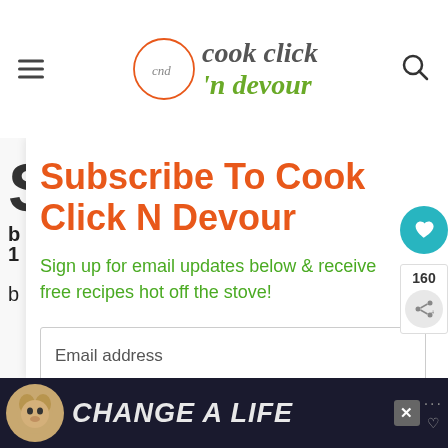cook click 'n devour
Subscribe To Cook Click N Devour
Sign up for email updates below & receive free recipes hot off the stove!
[Figure (screenshot): Email address input field]
[Figure (screenshot): Subscribe button (green)]
[Figure (screenshot): Ad banner at bottom: dog image and CHANGE A LIFE text]